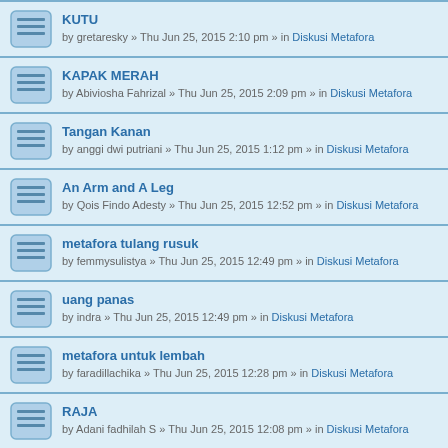KUTU by gretaresky » Thu Jun 25, 2015 2:10 pm » in Diskusi Metafora
KAPAK MERAH by Abiviosha Fahrizal » Thu Jun 25, 2015 2:09 pm » in Diskusi Metafora
Tangan Kanan by anggi dwi putriani » Thu Jun 25, 2015 1:12 pm » in Diskusi Metafora
An Arm and A Leg by Qois Findo Adesty » Thu Jun 25, 2015 12:52 pm » in Diskusi Metafora
metafora tulang rusuk by femmysulistya » Thu Jun 25, 2015 12:49 pm » in Diskusi Metafora
uang panas by indra » Thu Jun 25, 2015 12:49 pm » in Diskusi Metafora
metafora untuk lembah by faradillachika » Thu Jun 25, 2015 12:28 pm » in Diskusi Metafora
RAJA by Adani fadhilah S » Thu Jun 25, 2015 12:08 pm » in Diskusi Metafora
RAJA by Adani fadhilah S » Thu Jun 25, 2015 12:07 pm » in Diskusi Metafora
Antara Metafora dan Idiom by Faizal_Ramadan » Thu Jun 25, 2015 12:06 pm » in Diskusi Metafora
Display posts from previous All results
Post time